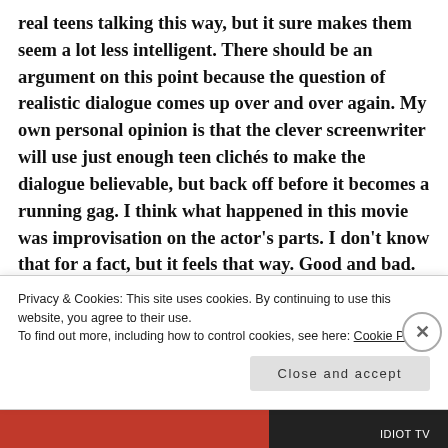real teens talking this way, but it sure makes them seem a lot less intelligent.  There should be an argument on this point because the question of realistic dialogue comes up over and over again.  My own personal opinion is that the clever screenwriter will use just enough teen clichés to make the dialogue believable, but back off before it becomes a running gag.  I think what happened in this movie was improvisation on the actor's parts.  I don't know that for a fact, but it feels that way.  Good and bad.
The ending probably should have been retooled as well.
Privacy & Cookies: This site uses cookies. By continuing to use this website, you agree to their use.
To find out more, including how to control cookies, see here: Cookie Policy